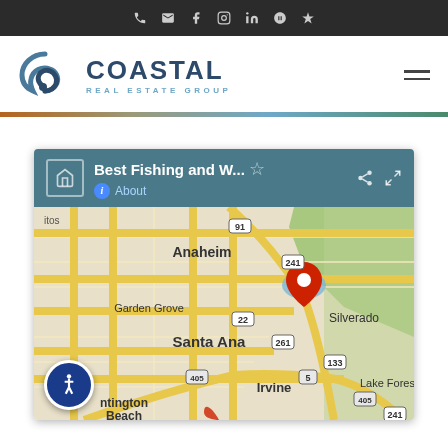Top navigation bar with phone, email, Facebook, Instagram, LinkedIn, Zillow, Yelp icons
[Figure (logo): Coastal Real Estate Group logo with blue swirl icon and text]
[Figure (map): Google Maps screenshot titled 'Best Fishing and W...' showing Orange County California area with Anaheim, Garden Grove, Santa Ana, Irvine, Huntington Beach, Silverado, Lake Forest marked, with a red location pin near lake by route 241]